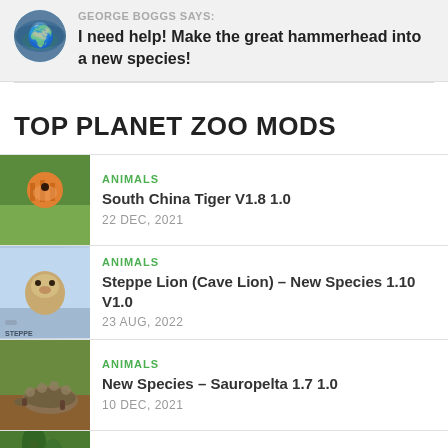GEORGE BOGGS SAYS: I need help! Make the great hammerhead into a new species!
TOP PLANET ZOO MODS
ANIMALS | South China Tiger V1.8 1.0 | 22 DEC, 2021
ANIMALS | Steppe Lion (Cave Lion) – New Species 1.10 V1.0 | 23 AUG, 2022
ANIMALS | New Species – Sauropelta 1.7 1.0 | 10 DEC, 2021
ANIMALS